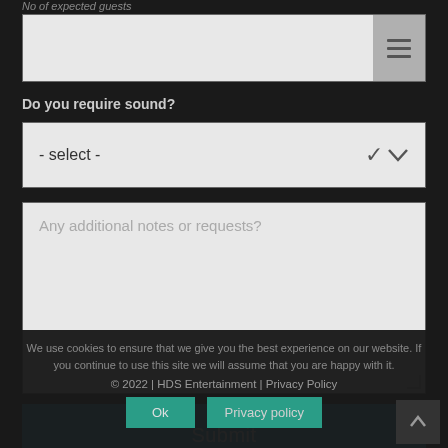No of expected guests
[Figure (screenshot): Text input field with hamburger/menu icon button on the right]
Do you require sound?
[Figure (screenshot): Dropdown select field showing '- select -' with chevron icon]
[Figure (screenshot): Textarea with placeholder 'Any additional notes or requests?' with resize handle]
[Figure (screenshot): Submit button in blue]
We use cookies to ensure that we give you the best experience on our website. If you continue to use this site we will assume that you are happy with it.
© 2022 | HDS Entertainment | Privacy Policy